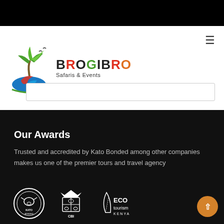[Figure (logo): Brogibro Safaris & Events logo with palm tree, birds, waves in green/blue/red/orange colors]
Our Awards
Trusted and accredited by Kato Bonded among other companies makes us one of the premier tours and travel agency
[Figure (logo): KATO Bonded circular badge logo in white on black]
[Figure (logo): CBI coat of arms logo in white]
[Figure (logo): ECO tourism Kenya logo with leaf in white]